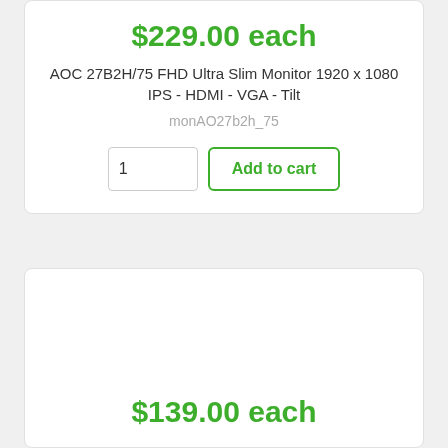$229.00 each
AOC 27B2H/75 FHD Ultra Slim Monitor 1920 x 1080 IPS - HDMI - VGA - Tilt
monAO27b2h_75
$139.00 each